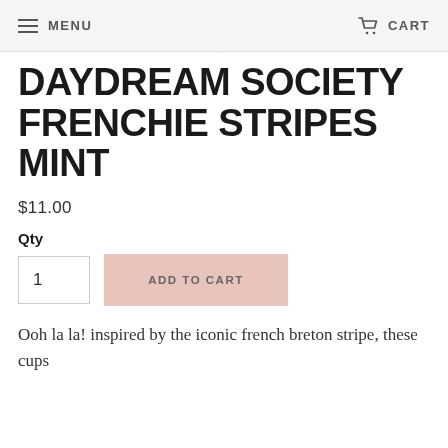MENU   CART
DAYDREAM SOCIETY FRENCHIE STRIPES MINT
$11.00
Qty
1   ADD TO CART
Ooh la la! inspired by the iconic french breton stripe, these cups